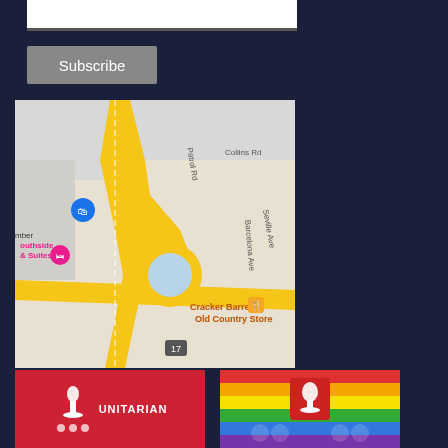[Figure (screenshot): White input text box with dark underline border]
Subscribe
[Figure (map): Google Maps screenshot showing intersection near Cracker Barrel Old Country Store, with streets Collins Rd, Patrol Rd, Barcelona Ave, Seville Ave visible, and a roundabout with yellow roads]
[Figure (logo): Unitarian logo on red background with chalice icon and text UNITARIAN]
[Figure (logo): Unitarian Universalist rainbow pride logo with chalice icon on rainbow striped background]